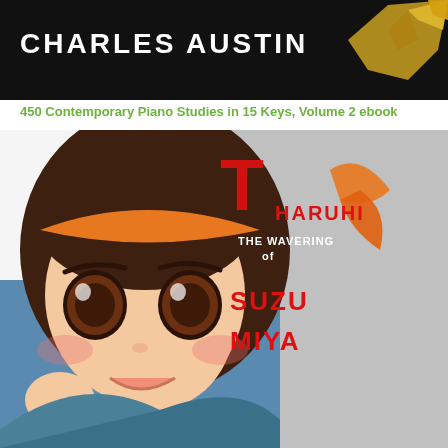[Figure (illustration): Book cover image with dark background showing text 'CHARLES AUSTIN' in white bold letters with a yellow/orange bird silhouette on the right side]
450 Contemporary Piano Studies in 15 Keys, Volume 2 ebook
[Figure (illustration): Manga book cover: 'The Wavering of Haruhi Suzumiya' - anime style illustration of a girl with dark brown hair and orange headband, large brown eyes, smiling expression, wearing a blue and red outfit. The title text appears in red and white stylized lettering on the right side of the cover.]